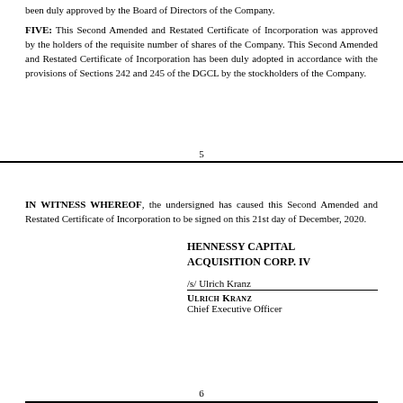been duly approved by the Board of Directors of the Company.
FIVE: This Second Amended and Restated Certificate of Incorporation was approved by the holders of the requisite number of shares of the Company. This Second Amended and Restated Certificate of Incorporation has been duly adopted in accordance with the provisions of Sections 242 and 245 of the DGCL by the stockholders of the Company.
5
IN WITNESS WHEREOF, the undersigned has caused this Second Amended and Restated Certificate of Incorporation to be signed on this 21st day of December, 2020.
HENNESSY CAPITAL ACQUISITION CORP. IV
/s/ Ulrich Kranz
ULRICH KRANZ
Chief Executive Officer
6